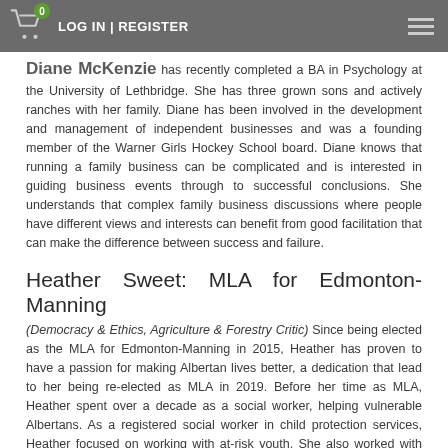LOG IN | REGISTER
Diane McKenzie has recently completed a BA in Psychology at the University of Lethbridge. She has three grown sons and actively ranches with her family. Diane has been involved in the development and management of independent businesses and was a founding member of the Warner Girls Hockey School board. Diane knows that running a family business can be complicated and is interested in guiding business events through to successful conclusions. She understands that complex family business discussions where people have different views and interests can benefit from good facilitation that can make the difference between success and failure.
Heather Sweet: MLA for Edmonton-Manning
(Democracy & Ethics, Agriculture & Forestry Critic) Since being elected as the MLA for Edmonton-Manning in 2015, Heather has proven to have a passion for making Albertan lives better, a dedication that lead to her being re-elected as MLA in 2019. Before her time as MLA, Heather spent over a decade as a social worker, helping vulnerable Albertans. As a registered social worker in child protection services, Heather focused on working with at-risk youth. She also worked with the Metis Child and Family Services Society.